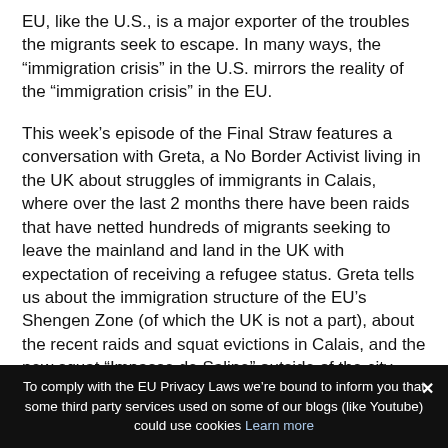EU, like the U.S., is a major exporter of the troubles the migrants seek to escape. In many ways, the “immigration crisis” in the U.S. mirrors the reality of the “immigration crisis” in the EU.
This week’s episode of the Final Straw features a conversation with Greta, a No Border Activist living in the UK about struggles of immigrants in Calais, where over the last 2 months there have been raids that have netted hundreds of migrants seeking to leave the mainland and land in the UK with expectation of receiving a refugee status. Greta tells us about the immigration structure of the EU’s Shengen Zone (of which the UK is not a part), about the recent raids and squat evictions in Calais, and the new squat “Impasse de Saline” outside of the city. She also touches on the plight of immigrants in the UK.
To comply with the EU Privacy Laws we’re bound to inform you that some third party services used on some of our blogs (like Youtube) could use cookies Learn more